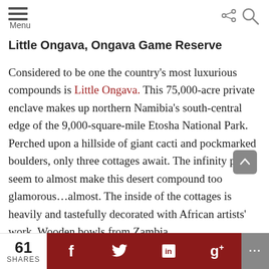Menu
Little Ongava, Ongava Game Reserve
Considered to be one the country's most luxurious compounds is Little Ongava. This 75,000-acre private enclave makes up northern Namibia's south-central edge of the 9,000-square-mile Etosha National Park. Perched upon a hillside of giant cacti and pockmarked boulders, only three cottages await. The infinity pools seem to almost make this desert compound too glamorous…almost. The inside of the cottages is heavily and tastefully decorated with African artists' work. Wooden bowls from Zambia,
61 SHARES  f  [Twitter]  in  g+  ...